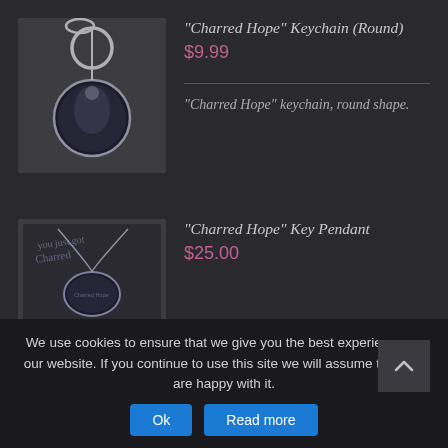[Figure (photo): Round keychain with a circular pendant showing a figure, attached to a silver clasp and ring.]
"Charred Hope" Keychain (Round)
$9.99
"Charred Hope" keychain, round shape.
[Figure (photo): Key pendant on a chain with handwritten-style text visible on the packaging.]
"Charred Hope" Key Pendant
$25.00
We use cookies to ensure that we give you the best experience on our website. If you continue to use this site we will assume that you are happy with it.